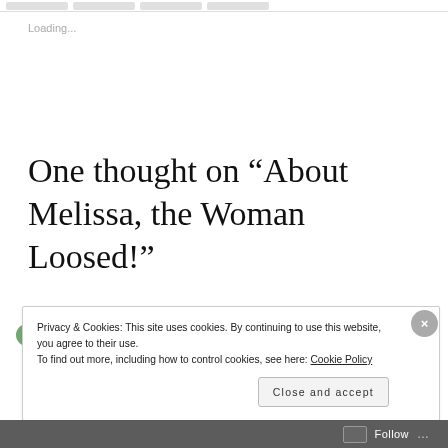Loading...
One thought on “About Melissa, the Woman Loosed!”
Privacy & Cookies: This site uses cookies. By continuing to use this website, you agree to their use.
To find out more, including how to control cookies, see here: Cookie Policy
Close and accept
Follow